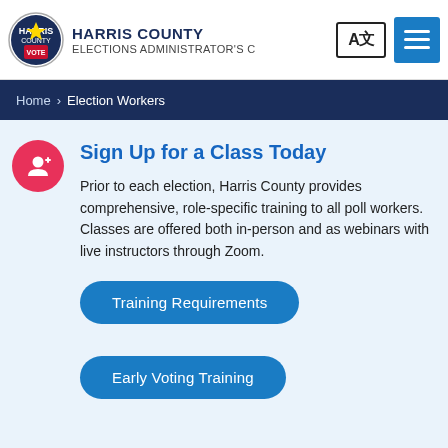HARRIS COUNTY ELECTIONS ADMINISTRATOR'S C
Home > Election Workers
Sign Up for a Class Today
Prior to each election, Harris County provides comprehensive, role-specific training to all poll workers. Classes are offered both in-person and as webinars with live instructors through Zoom.
Training Requirements
Early Voting Training